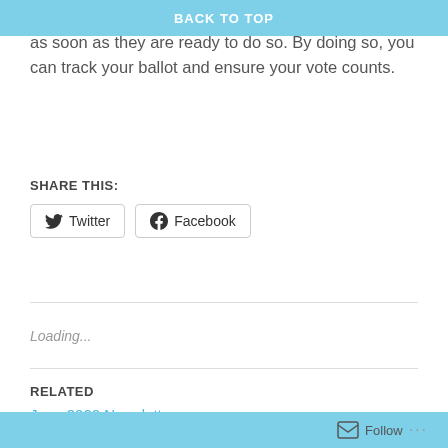BACK TO TOP
request their ballot as early as possible and return it as soon as they are ready to do so. By doing so, you can track your ballot and ensure your vote counts.
SHARE THIS:
[Figure (other): Twitter and Facebook share buttons]
Loading...
RELATED
June 2022 Newsletter
Follow